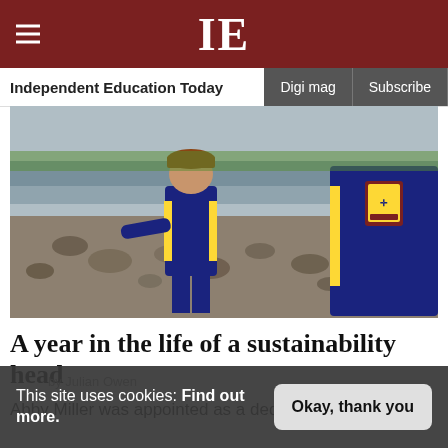IE — Independent Education Today | Digi mag | Subscribe
[Figure (photo): Two children wearing navy and yellow school uniforms/tracksuits standing on a rocky beach or shoreline. The child on the left faces forward and appears to be smiling, wearing a cap. The child on the right is shown from the side, wearing a blazer with a school crest.]
A year in the life of a sustainability head
by Julian Owen
Abby Miller was appointed as a dedicated head of sustainability at St Margaret's School for...
This site uses cookies: Find out more.